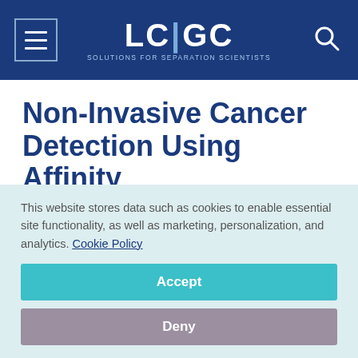LC|GC — Solutions for Separation Scientists
Non-Invasive Cancer Detection Using Affinity Chromatography and SERS
November 7, 2017
Lewis Botcherby
The Column
This website stores data such as cookies to enable essential site functionality, as well as marketing, personalization, and analytics. Cookie Policy
Accept
Deny